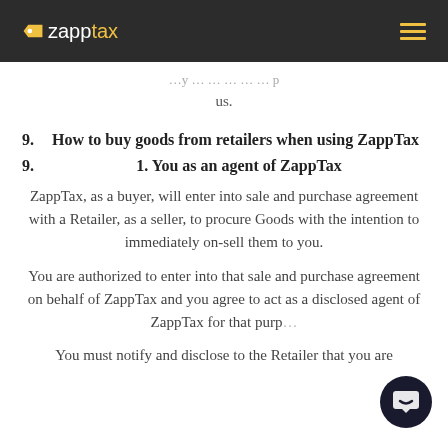zapptax
us.
9. How to buy goods from retailers when using ZappTax
9. 1. You as an agent of ZappTax
ZappTax, as a buyer, will enter into sale and purchase agreement with a Retailer, as a seller, to procure Goods with the intention to immediately on-sell them to you.
You are authorized to enter into that sale and purchase agreement on behalf of ZappTax and you agree to act as a disclosed agent of ZappTax for that purp…
You must notify and disclose to the Retailer that you are